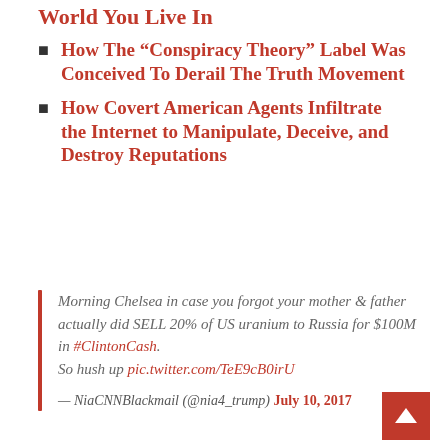World You Live In
How The “Conspiracy Theory” Label Was Conceived To Derail The Truth Movement
How Covert American Agents Infiltrate the Internet to Manipulate, Deceive, and Destroy Reputations
Morning Chelsea in case you forgot your mother & father actually did SELL 20% of US uranium to Russia for $100M in #ClintonCash.
So hush up pic.twitter.com/TeE9cB0irU

— NiaCNNBlackmail (@nia4_trump) July 10, 2017